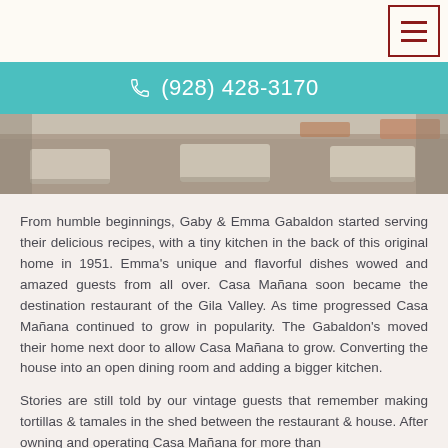(hamburger menu button)
(928) 428-3170
[Figure (photo): Outdoor pathway with stepping stones surrounded by gravel, viewed from above at an angle. Earthy tones of brown and gray.]
From humble beginnings, Gaby & Emma Gabaldon started serving their delicious recipes, with a tiny kitchen in the back of this original home in 1951. Emma's unique and flavorful dishes wowed and amazed guests from all over. Casa Mañana soon became the destination restaurant of the Gila Valley. As time progressed Casa Mañana continued to grow in popularity. The Gabaldon's moved their home next door to allow Casa Mañana to grow. Converting the house into an open dining room and adding a bigger kitchen.
Stories are still told by our vintage guests that remember making tortillas & tamales in the shed between the restaurant & house. After owning and operating Casa Mañana for more than